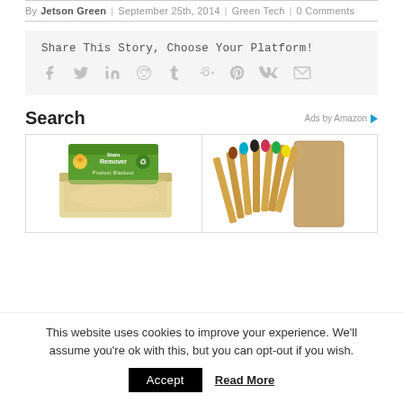By Jetson Green | September 25th, 2014 | Green Tech | 0 Comments
Share This Story, Choose Your Platform!
Search
[Figure (photo): Two Amazon product ads: left shows a green Stain Remover soap bar product, right shows a bundle of bamboo toothbrushes with colorful bristles]
This website uses cookies to improve your experience. We'll assume you're ok with this, but you can opt-out if you wish.
Accept  Read More